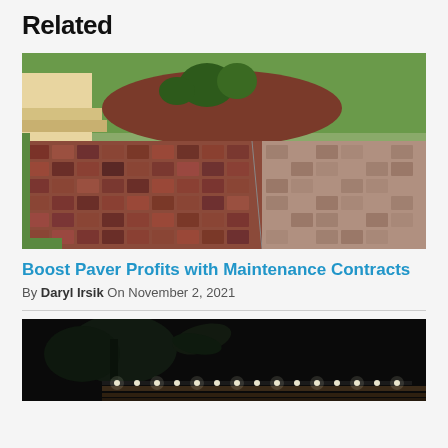Related
[Figure (photo): Outdoor brick paver driveway showing two sections side by side: left section with darker reddish-brown pavers (before), right section with lighter tan/grey pavers (after cleaning or sealing). Green grass and red mulch landscaping bed visible in background.]
Boost Paver Profits with Maintenance Contracts
By Daryl Irsik On November 2, 2021
[Figure (photo): Nighttime outdoor scene showing a deck or paver area with a string of small LED lights running along the edge, illuminating dark wood decking. Palm tree and tropical plants visible in dark background.]